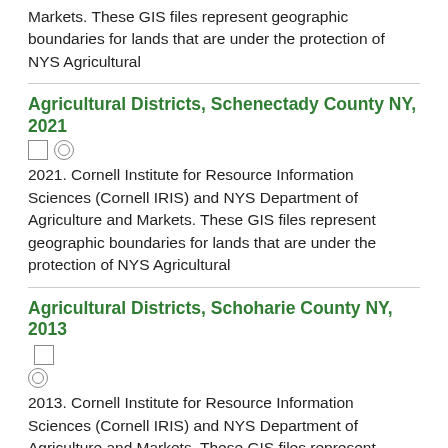Markets. These GIS files represent geographic boundaries for lands that are under the protection of NYS Agricultural
Agricultural Districts, Schenectady County NY, 2021
2021. Cornell Institute for Resource Information Sciences (Cornell IRIS) and NYS Department of Agriculture and Markets. These GIS files represent geographic boundaries for lands that are under the protection of NYS Agricultural
Agricultural Districts, Schoharie County NY, 2013
2013. Cornell Institute for Resource Information Sciences (Cornell IRIS) and NYS Department of Agriculture and Markets. These GIS files represent geographic boundaries for lands that are under the protection of NYS Agricultural
Agricultural Districts, Schunder County NY, 2020